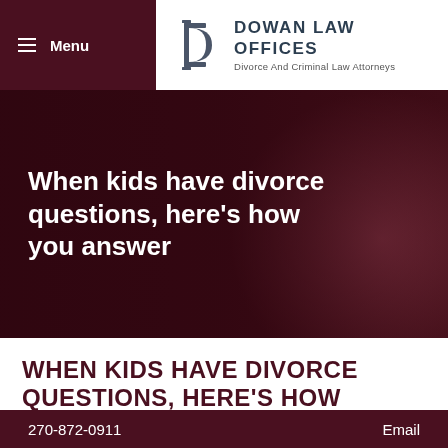Menu | DOWAN LAW OFFICES — Divorce And Criminal Law Attorneys
[Figure (screenshot): Dark maroon hero image with blurred background showing a person's hands, overlaid with white text reading: When kids have divorce questions, here's how you answer]
WHEN KIDS HAVE DIVORCE QUESTIONS, HERE'S HOW
270-872-0911    Email